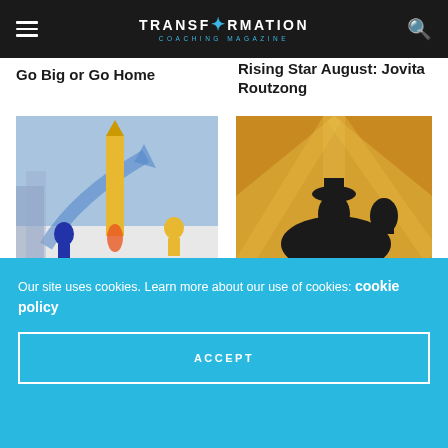TRANSFORMATION COACHING MAGAZINE
Go Big or Go Home
Rising Star August: Jovita Routzong
[Figure (illustration): Illustrated scene with rocket launching from a city street, upward arrow, figures in the foreground on a blue and white background]
[Figure (illustration): Silhouette of a cowboy on horseback against a warm orange and yellow sunset background]
FEATURED
Getting Your Business off the Ground
EMPOWERMENT
Who Needs Need? The Twelfth Pathway
Our site uses cookies. Learn more about our use of cookies: cookie policy
ACCEPT